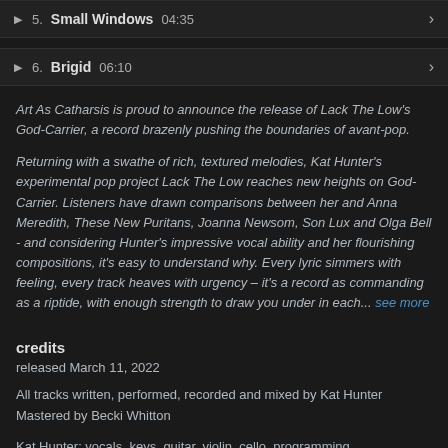5. Small Windows 04:35
6. Brigid 06:10
Art As Catharsis is proud to announce the release of Lack The Low's God-Carrier, a record brazenly pushing the boundaries of avant-pop.
Returning with a swathe of rich, textured melodies, Kat Hunter's experimental pop project Lack The Low reaches new heights on God-Carrier. Listeners have drawn comparisons between her and Anna Meredith, These New Puritans, Joanna Newsom, Son Lux and Olga Bell - and considering Hunter's impressive vocal ability and her flourishing compositions, it's easy to understand why. Every lyric simmers with feeling, every track heaves with urgency – it's a record as commanding as a riptide, with enough strength to draw you under in each... see more
credits
released March 11, 2022
All tracks written, performed, recorded and mixed by Kat Hunter
Mastered by Becki Whitton
Kat Hunter: vocals, keys, guitar, violin, cello, programming